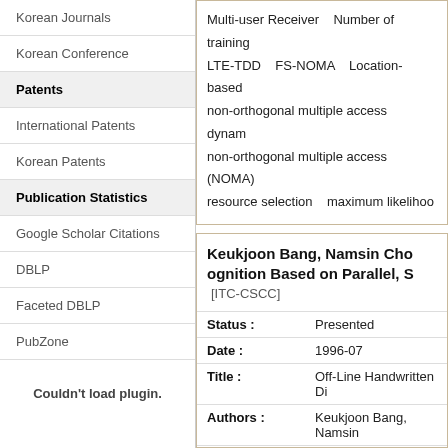Korean Journals
Korean Conference
Patents
International Patents
Korean Patents
Publication Statistics
Google Scholar Citations
DBLP
Faceted DBLP
PubZone
Couldn't load plugin.
Multi-user Receiver    Number of training
LTE-TDD    FS-NOMA    Location-based
non-orthogonal multiple access    dynam
non-orthogonal multiple access (NOMA)
resource selection    maximum likelihoo
Keukjoon Bang, Namsin Cho ognition Based on Parallel, S
[ITC-CSCC]
| Field | Value |
| --- | --- |
| Status : | Presented |
| Date : | 1996-07 |
| Title : | Off-Line Handwritten Di |
| Authors : | Keukjoon Bang, Namsin |
| Conference : | International Technical C |
| Abstract : | Not Availiable |